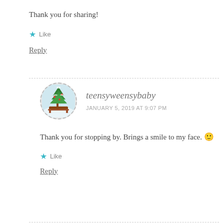Thank you for sharing!
★ Like
Reply
teensyweensybaby
JANUARY 5, 2019 AT 9:07 PM
Thank you for stopping by. Brings a smile to my face. 🙂
★ Like
Reply